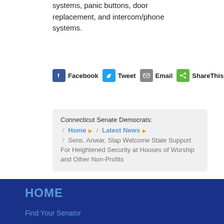systems, panic buttons, door replacement, and intercom/phone systems.
Facebook  Tweet  Email  ShareThis
Connecticut Senate Democrats:
/ Home ▶ / Latest News ▶
/ Sens. Anwar, Slap Welcome State Support For Heightened Security at Houses of Worship and Other Non-Profits
HOME
Find Your Senator